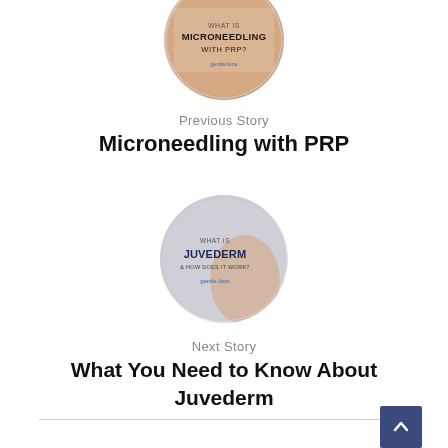[Figure (illustration): Circular thumbnail image with text overlay reading 'WHAT IS MICRONEEDLING WITH PRP?' with a logo at the bottom]
Previous Story
Microneedling with PRP
[Figure (illustration): Circular thumbnail image with text overlay reading 'WHAT IS JUVEDERM & HOW DOES IT WORK?' with a logo at the bottom, background shows a person touching their face]
Next Story
What You Need to Know About Juvederm